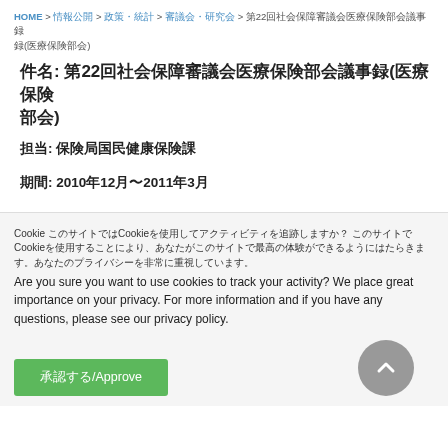HOME > 情報公開 > 政策・統計 > 審議会・研究会 > 第22回社会保障審議会医療保険部会議事録(医療保険部会)
件名: 第22回社会保障審議会医療保険部会議事録(医療保険部会)
担当: 保険局国民健康保険課
期間: 2010年12月〜2011年3月
Cookie このサイトではCookieを使用してアクティビティを追跡しますか？ Cookieは、あなたがこのサイトで最高の体験ができるように使用されます。あなたのプライバシーを非常に重視しています。
Are you sure you want to use cookies to track your activity? We place great importance on your privacy. For more information and if you have any questions, please see our privacy policy.
承認する/Approve